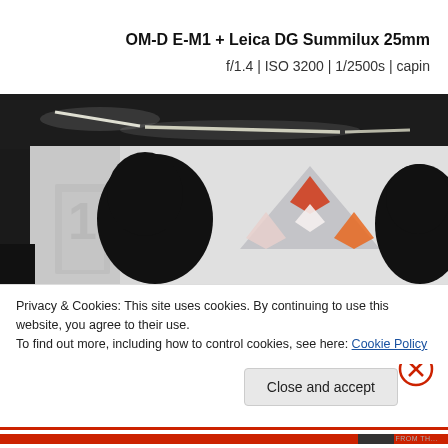OM-D E-M1 + Leica DG Summilux 25mm
f/1.4 | ISO 3200 | 1/2500s | capin
[Figure (photo): Indoor photo showing silhouettes of two people in the foreground against a bright projection screen or wall displaying the Mitsubishi logo (three diamond shapes). Linear ceiling lights visible above. Dark ceiling. The image is partially obscured by a cookie consent banner overlay.]
Privacy & Cookies: This site uses cookies. By continuing to use this website, you agree to their use.
To find out more, including how to control cookies, see here: Cookie Policy